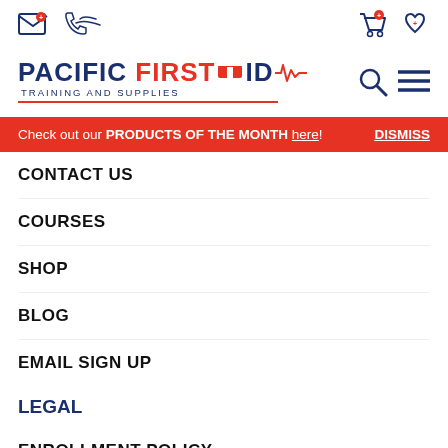[Figure (logo): Pacific First Aid Training and Supplies logo with navigation icons (email, phone, cart, wishlist, search, hamburger menu)]
Check out our PRODUCTS OF THE MONTH here! DISMISS
CONTACT US
COURSES
SHOP
BLOG
EMAIL SIGN UP
LEGAL
ENROLLMENT POLICY
PRIVACY POLICY